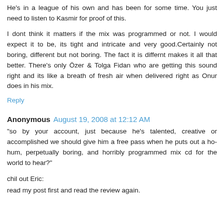He's in a league of his own and has been for some time. You just need to listen to Kasmir for proof of this.
I dont think it matters if the mix was programmed or not. I would expect it to be, its tight and intricate and very good.Certainly not boring, different but not boring. The fact it is differnt makes it all that better. There's only Özer & Tolga Fidan who are getting this sound right and its like a breath of fresh air when delivered right as Onur does in his mix.
Reply
Anonymous August 19, 2008 at 12:12 AM
"so by your account, just because he's talented, creative or accomplished we should give him a free pass when he puts out a ho-hum, perpetually boring, and horribly programmed mix cd for the world to hear?"
chil out Eric:
read my post first and read the review again.